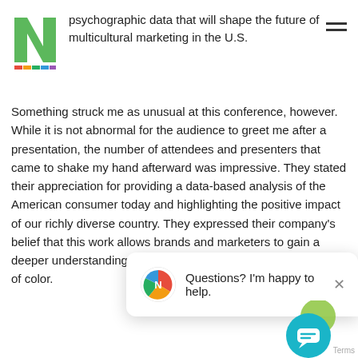psychographic data that will shape the future of multicultural marketing in the U.S.
Something struck me as unusual at this conference, however. While it is not abnormal for the audience to greet me after a presentation, the number of attendees and presenters that came to shake my hand afterward was impressive. They stated their appreciation for providing a data-based analysis of the American consumer today and highlighting the positive impact of our richly diverse country. They expressed their company's belief that this work allows brands and marketers to gain a deeper understanding of cultural nuances among consumers of color.
[Figure (screenshot): Chat popup overlay with logo icon and text 'Questions? I'm happy to help.' with a close (X) button, and a teal chat button in the bottom right corner.]